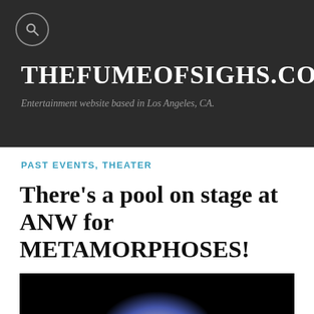THEFUMEOFSIGHS.COM
Entertainment website based in Los Angeles, CA.
PAST EVENTS, THEATER
There's a pool on stage at ANW for METAMORPHOSES!
[Figure (photo): Dark stage photo showing a glowing illuminated pool or vessel on stage against a black background]